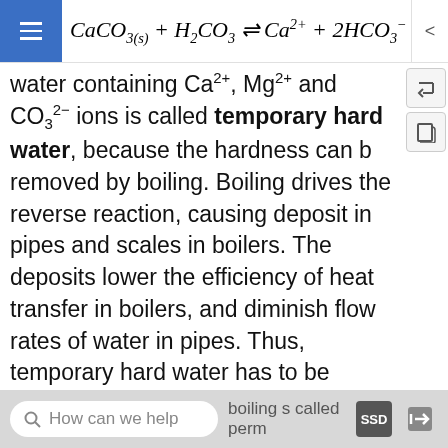CaCO3(s) + H2CO3 ⇌ Ca2+ + 2HCO3-
water containing Ca2+, Mg2+ and CO32- ions is called temporary hard water, because the hardness can be removed by boiling. Boiling drives the reverse reaction, causing deposit in pipes and scales in boilers. The deposits lower the efficiency of heat transfer in boilers, and diminish flow rates of water in pipes. Thus, temporary hard water has to be softened before it enters the boiler, hot-water tank, or a cooling system. The amount of metal ions that can be removed by boiling is called temporary hardness
After boiling, metal ions remain due to presence of chloride ions, sulfate ions, nitrate ions, and a rather high solubility of MgCO. Amount of metal ions that
How can we help  boiling is called perm SSD